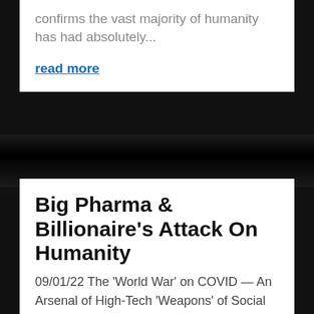confirms the vast majority of humanity has had absolutely...
read more
Big Pharma & Billionaire's Attack On Humanity
09/01/22 The 'World War' on COVID — An Arsenal of High-Tech 'Weapons' of Social Control If we carefully analyze each aspect of the "world war" on COVID-19, we can see how each tactic and high-tech "weapon" has harmed human health, destabilized civil society